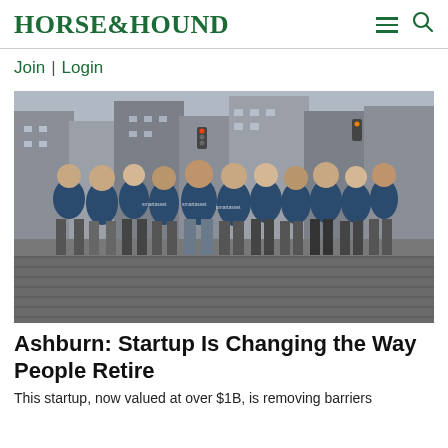HORSE&HOUND
Join | Login
[Figure (photo): Group photo of approximately 12 people wearing navy blue 'smartasset' branded t-shirts, standing together on a cobblestone street in an urban setting (New York City), with buildings and traffic lights visible in the background.]
Ashburn: Startup Is Changing the Way People Retire
This startup, now valued at over $1B, is removing barriers